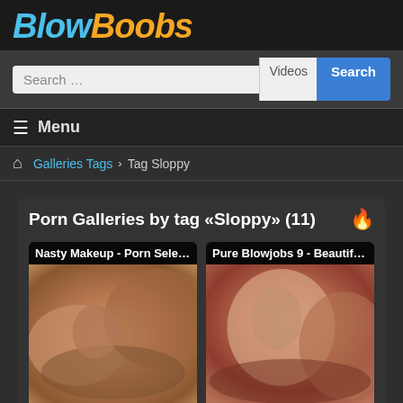BlowBoobs
Search ... Videos Search
≡ Menu
🏠 Galleries Tags Tag Sloppy
Porn Galleries by tag «Sloppy» (11)
[Figure (screenshot): Gallery card: Nasty Makeup - Porn Select... with stats 109 photos, 100%, 3819 views]
[Figure (screenshot): Gallery card: Pure Blowjobs 9 - Beautiful ... with stats 141 photos, 100%, 2434 views]